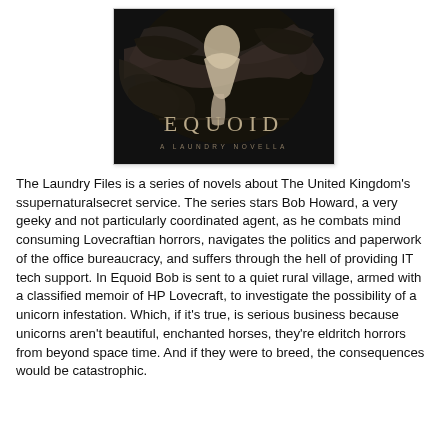[Figure (illustration): Book cover for 'Equoid: A Laundry Novella' showing a dark, dramatic illustration with a figure and serpentine/eel-like creatures on a dark background. The title EQUOID is displayed in large serif letters and below it reads 'A LAUNDRY NOVELLA'.]
The Laundry Files is a series of novels about The United Kingdom's ssupernaturalsecret service. The series stars Bob Howard, a very geeky and not particularly coordinated agent, as he combats mind consuming Lovecraftian horrors, navigates the politics and paperwork of the office bureaucracy, and suffers through the hell of providing IT tech support. In Equoid Bob is sent to a quiet rural village, armed with a classified memoir of HP Lovecraft, to investigate the possibility of a unicorn infestation. Which, if it's true, is serious business because unicorns aren't beautiful, enchanted horses, they're eldritch horrors from beyond space time. And if they were to breed, the consequences would be catastrophic.